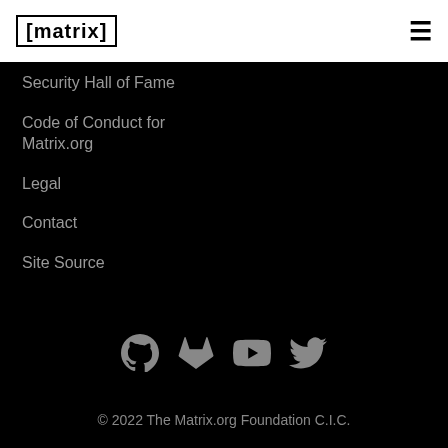matrix
Security Hall of Fame
Code of Conduct for Matrix.org
Legal
Contact
Site Source
[Figure (logo): Social media icons: GitHub, GitLab, YouTube, Twitter]
© 2022 The Matrix.org Foundation C.I.C.